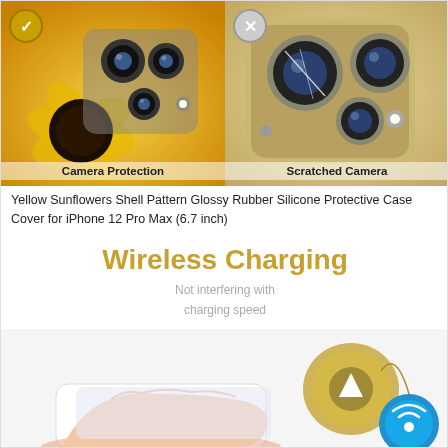[Figure (photo): Split comparison image: left side shows iPhone 12 Pro Max back camera with sunflower case (yellow/golden background) and checkmark icon labeled 'Camera Protection'; right side shows scratched camera lens on gold iPhone with X icon labeled 'Scratched Camera']
Camera Protection | Scratched Camera
Yellow Sunflowers Shell Pattern Glossy Rubber Silicone Protective Case Cover for iPhone 12 Pro Max (6.7 inch)
Wireless Charging
Not interfering with charging speed
[Figure (photo): Hand holding iPhone with sunflower case from below, showing wireless charging being used, with a gold disc charging pad and a blue circular icon with Wi-Fi/signal symbol on the right side]